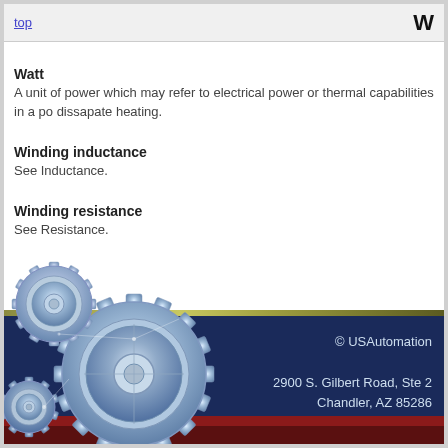top  W
Watt
A unit of power which may refer to electrical power or thermal capabilities in a po dissapate heating.
Winding inductance
See Inductance.
Winding resistance
See Resistance.
[Figure (illustration): Blue metallic interlocking gear cogs illustration in the bottom left corner of the page footer]
© USAutomation
2900 S. Gilbert Road, Ste 2
Chandler, AZ 85286